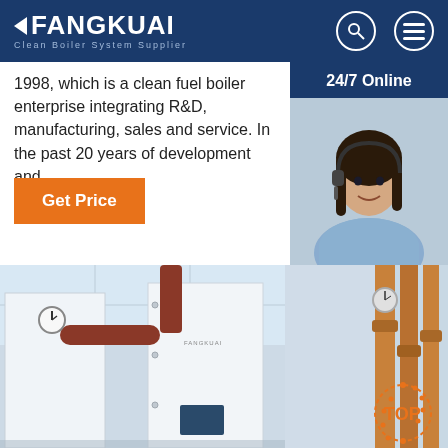FANGKUAI Clean Boiler System Supplier
1998, which is a clean fuel boiler enterprise integrating R&D, manufacturing, sales and service. In the past 20 years of development and ...
Get Price
24/7 Online
[Figure (photo): Customer service agent with headset smiling]
Click here for free chat !
QUOTATION
[Figure (photo): Fangkuai industrial boiler in a facility room with pipes and gauge]
[Figure (photo): Industrial heating system pipes and equipment with TOP icon overlay]